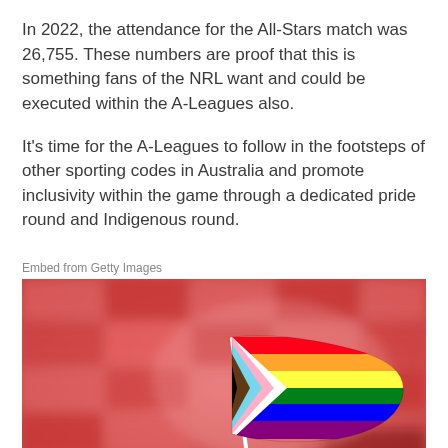In 2022, the attendance for the All-Stars match was 26,755. These numbers are proof that this is something fans of the NRL want and could be executed within the A-Leagues also.
It's time for the A-Leagues to follow in the footsteps of other sporting codes in Australia and promote inclusivity within the game through a dedicated pride round and Indigenous round.
Embed from Getty Images
[Figure (photo): A hand holding a Progress Pride flag (rainbow with chevron of black, brown, white, pink, and light blue stripes) in front of red stadium seating.]